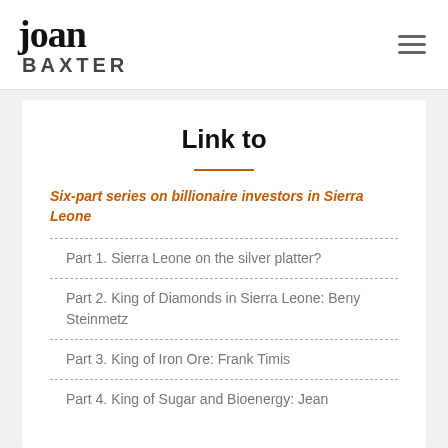joan BAXTER
Link to
Six-part series on billionaire investors in Sierra Leone
Part 1. Sierra Leone on the silver platter?
Part 2. King of Diamonds in Sierra Leone: Beny Steinmetz
Part 3. King of Iron Ore: Frank Timis
Part 4. King of Sugar and Bioenergy: Jean